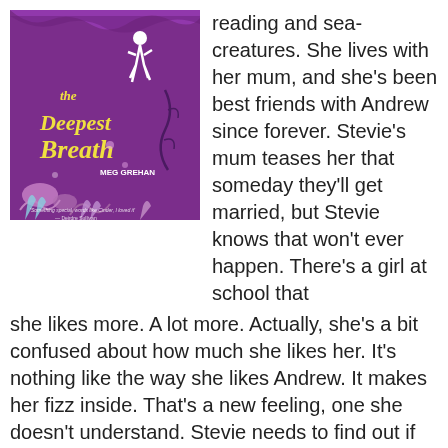[Figure (illustration): Book cover of 'The Deepest Breath' by Meg Grehan. Purple background with illustrated sea creatures, plants, and a dancing figure. Title in yellow cursive script.]
reading and sea-creatures. She lives with her mum, and she's been best friends with Andrew since forever. Stevie's mum teases her that someday they'll get married, but Stevie knows that won't ever happen. There's a girl at school that she likes more. A lot more. Actually, she's a bit confused about how much she likes her. It's nothing like the way she likes Andrew. It makes her fizz inside. That's a new feeling, one she doesn't understand. Stevie needs to find out if girls can like girls – love them, even – but it's hard to get any information, and she's too shy to ask out loud